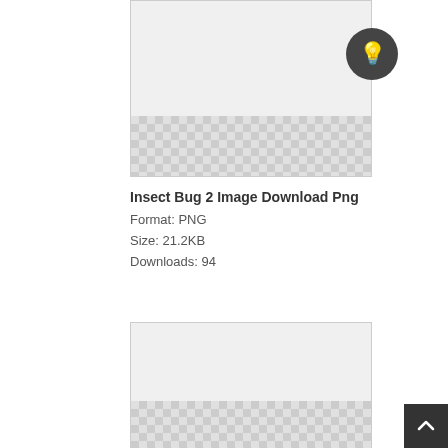[Figure (other): Transparent PNG image preview with checkerboard background - top image card (Insect Bug 2)]
[Figure (other): Lightbulb icon button - dark circular button with white lightbulb icon]
Insect Bug 2 Image Download Png
Format: PNG
Size: 21.2KB
Downloads: 94
[Figure (other): Transparent PNG image preview with checkerboard background - second image card]
[Figure (other): Scroll to top button - dark square button with up arrow icon]